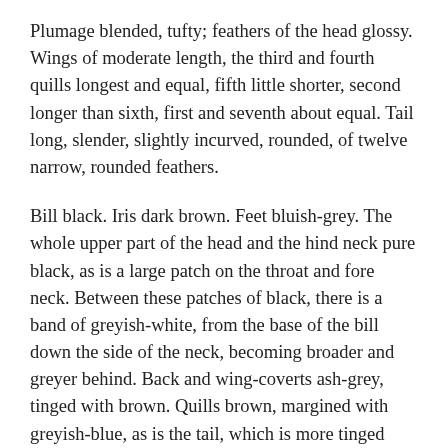Plumage blended, tufty; feathers of the head glossy. Wings of moderate length, the third and fourth quills longest and equal, fifth little shorter, second longer than sixth, first and seventh about equal. Tail long, slender, slightly incurved, rounded, of twelve narrow, rounded feathers.
Bill black. Iris dark brown. Feet bluish-grey. The whole upper part of the head and the hind neck pure black, as is a large patch on the throat and fore neck. Between these patches of black, there is a band of greyish-white, from the base of the bill down the side of the neck, becoming broader and greyer behind. Back and wing-coverts ash-grey, tinged with brown. Quills brown, margined with greyish-blue, as is the tail, which is more tinged with grey. Lower parts greyish-white,